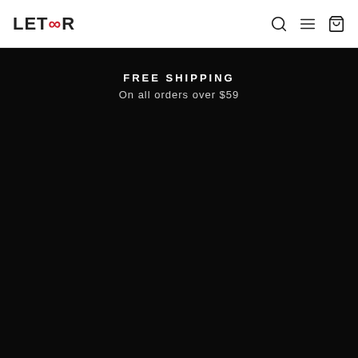LETOOR
FREE SHIPPING
On all orders over $59
[Figure (photo): Dark/black background section filling most of the page below the header]